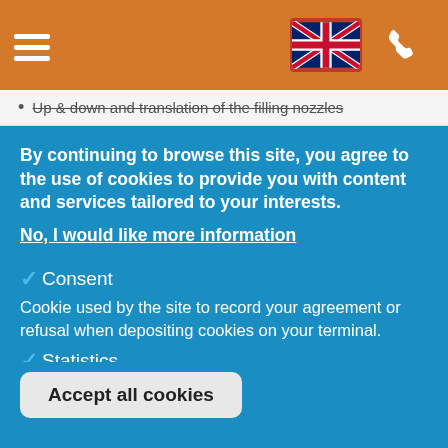[hamburger menu icon] [UK flag] [phone icon]
Up & down and translation of the filling nozzles
By continuing to browse this site, you agree to the use of cookies to provide you with content and services tailored to your interests.
No, I would like more information
✓Consent
Cookie used by the site to record your agreement or refusal when depositing cookies on your terminal.
✓Statistics
Cookies that submit anonymous activity data to analysis software. This data helps us to improve the website.
Save preferences
Accept all cookies